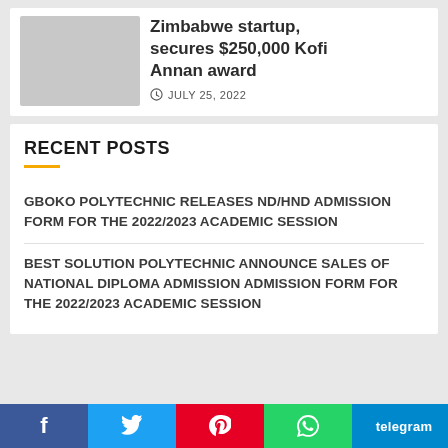Zimbabwe startup, secures $250,000 Kofi Annan award
JULY 25, 2022
RECENT POSTS
GBOKO POLYTECHNIC RELEASES ND/HND ADMISSION FORM FOR THE 2022/2023 ACADEMIC SESSION
BEST SOLUTION POLYTECHNIC ANNOUNCE SALES OF NATIONAL DIPLOMA ADMISSION ADMISSION FORM FOR THE 2022/2023 ACADEMIC SESSION